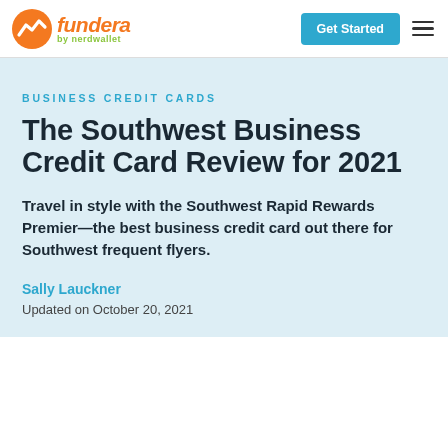[Figure (logo): Fundera by NerdWallet logo with orange wave icon and orange italic 'fundera' text with green 'by nerdwallet' below]
Get Started
BUSINESS CREDIT CARDS
The Southwest Business Credit Card Review for 2021
Travel in style with the Southwest Rapid Rewards Premier—the best business credit card out there for Southwest frequent flyers.
Sally Lauckner
Updated on October 20, 2021